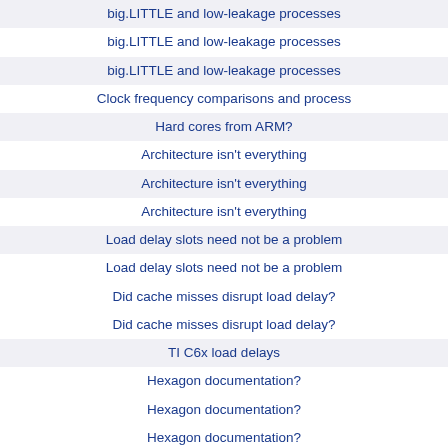big.LITTLE and low-leakage processes
big.LITTLE and low-leakage processes
big.LITTLE and low-leakage processes
Clock frequency comparisons and process
Hard cores from ARM?
Architecture isn't everything
Architecture isn't everything
Architecture isn't everything
Load delay slots need not be a problem
Load delay slots need not be a problem
Did cache misses disrupt load delay?
Did cache misses disrupt load delay?
TI C6x load delays
Hexagon documentation?
Hexagon documentation?
Hexagon documentation?
Architecture isn't everything
How Does Silvermont Compare To A15?
How Does Silvermont Compare To A15?
How Does Silvermont Compare To A15?
SMT is a dodo bird
SMT is a dodo bird
SMT is a dodo bird